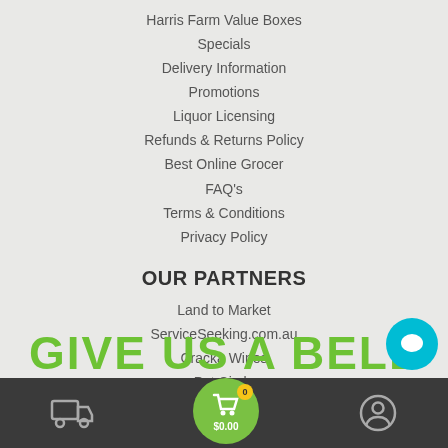Harris Farm Value Boxes
Specials
Delivery Information
Promotions
Liquor Licensing
Refunds & Returns Policy
Best Online Grocer
FAQ's
Terms & Conditions
Privacy Policy
OUR PARTNERS
Land to Market
ServiceSeeking.com.au
Cracka Wines
Pet Circle
Appliances Online
GIVE US A BELL
0  $0.00